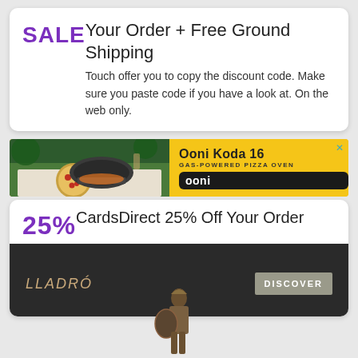SALE
Your Order + Free Ground Shipping
Touch offer you to copy the discount code. Make sure you paste code if you have a look at. On the web only.
[Figure (photo): Advertisement banner for Ooni Koda 16 gas-powered pizza oven showing a pizza oven on a table with a pizza, yellow background with Ooni branding]
CardsDirect 25% Off Your Order
25%
[Figure (photo): Advertisement banner for Lladro showing a bronze warrior figurine with shield, dark background, Lladro logo and DISCOVER button]